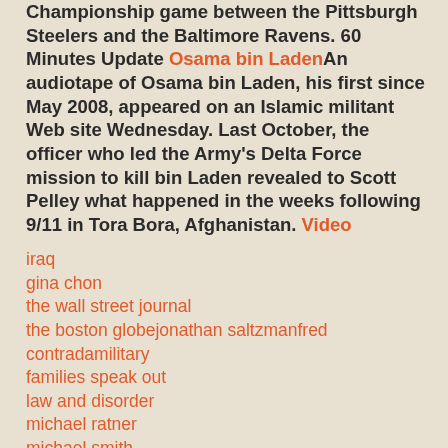Championship game between the Pittsburgh Steelers and the Baltimore Ravens. 60 Minutes Update Osama bin Laden An audiotape of Osama bin Laden, his first since May 2008, appeared on an Islamic militant Web site Wednesday. Last October, the officer who led the Army's Delta Force mission to kill bin Laden revealed to Scott Pelley what happened in the weeks following 9/11 in Tora Bora, Afghanistan. Video
iraq
gina chon
the wall street journal
the boston globejonathan saltzmanfred contradamilitary
families speak out
law and disorder
michael ratner
michael smith
dalia hashad
heidi boghosian
the new york timestimothy williamscourage to resistact